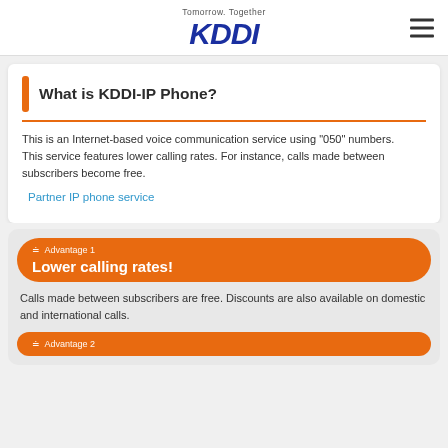Tomorrow. Together KDDI
What is KDDI-IP Phone?
This is an Internet-based voice communication service using "050" numbers. This service features lower calling rates. For instance, calls made between subscribers become free.
Partner IP phone service
Advantage 1 Lower calling rates!
Calls made between subscribers are free. Discounts are also available on domestic and international calls.
Advantage 2